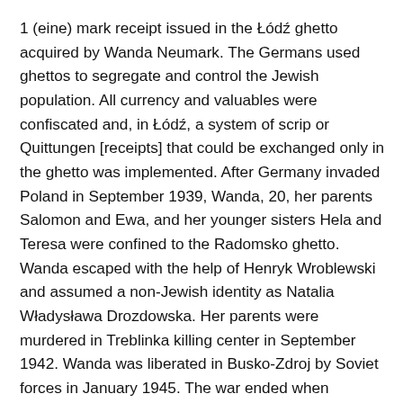1 (eine) mark receipt issued in the Łódź ghetto acquired by Wanda Neumark. The Germans used ghettos to segregate and control the Jewish population. All currency and valuables were confiscated and, in Łódź, a system of scrip or Quittungen [receipts] that could be exchanged only in the ghetto was implemented. After Germany invaded Poland in September 1939, Wanda, 20, her parents Salomon and Ewa, and her younger sisters Hela and Teresa were confined to the Radomsko ghetto. Wanda escaped with the help of Henryk Wroblewski and assumed a non-Jewish identity as Natalia Władysława Drozdowska. Her parents were murdered in Treblinka killing center in September 1942. Wanda was liberated in Busko-Zdroj by Soviet forces in January 1945. The war ended when Germany surrendered that May. Wanda and her sisters left for Austria. In June 1946, Wanda married a Jewish American soldier Jacob Lomazow and immigrated to the